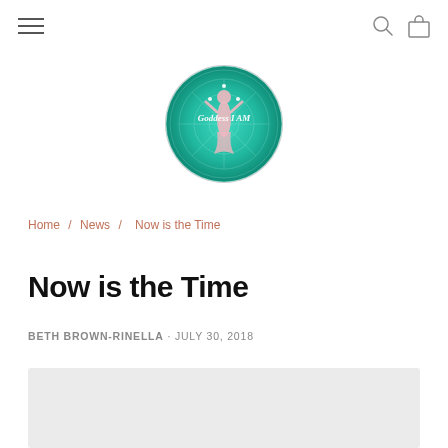Navigation header with hamburger menu, search and cart icons
[Figure (logo): Goddess I AM circular logo with teal/green background showing a goddess figure and the text 'Goddess I AM']
Home / News / Now is the Time
Now is the Time
BETH BROWN-RINELLA · JULY 30, 2018
[Figure (photo): Gray placeholder image area at bottom of page]